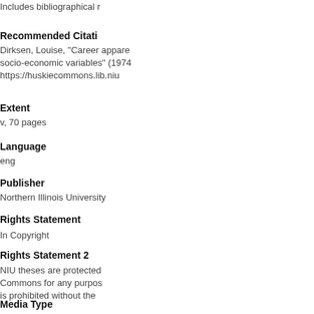Includes bibliographical r
Recommended Citati
Dirksen, Louise, "Career appare socio-economic variables" (1974 https://huskiecommons.lib.niu
Extent
v, 70 pages
Language
eng
Publisher
Northern Illinois University
Rights Statement
In Copyright
Rights Statement 2
NIU theses are protected Commons for any purpos is prohibited without the
Media Type
Text